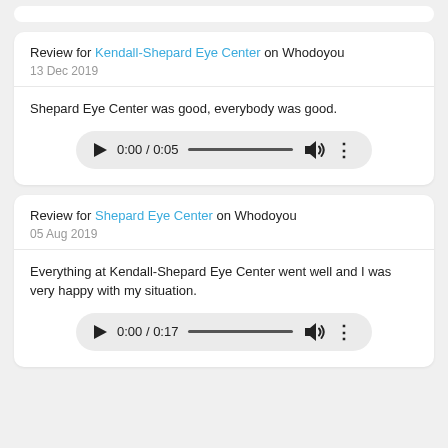Review for Kendall-Shepard Eye Center on Whodoyou
13 Dec 2019
Shepard Eye Center was good, everybody was good.
[Figure (other): Audio player widget showing 0:00 / 0:05 with play button, progress bar, volume icon, and options menu]
Review for Shepard Eye Center on Whodoyou
05 Aug 2019
Everything at Kendall-Shepard Eye Center went well and I was very happy with my situation.
[Figure (other): Audio player widget showing 0:00 / 0:17 with play button, progress bar, volume icon, and options menu]